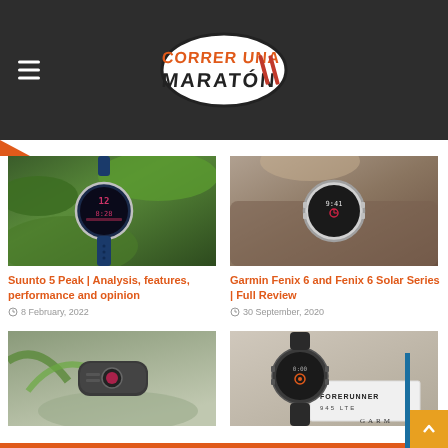Correr Una Maratón — website header with logo and hamburger menu
[Figure (photo): Suunto 5 Peak smartwatch with navy blue strap resting on succulent plant leaves]
[Figure (photo): Garmin Fenix 6 smartwatch with grey strap resting on a tree branch or wood]
Suunto 5 Peak | Analysis, features, performance and opinion
8 February, 2022
Garmin Fenix 6 and Fenix 6 Solar Series | Full Review
30 September, 2020
[Figure (photo): A small black GPS running pod/sensor device placed on rocks near a palm plant]
[Figure (photo): Garmin Forerunner 945 LTE smartwatch on packaging box with Garmin branding]